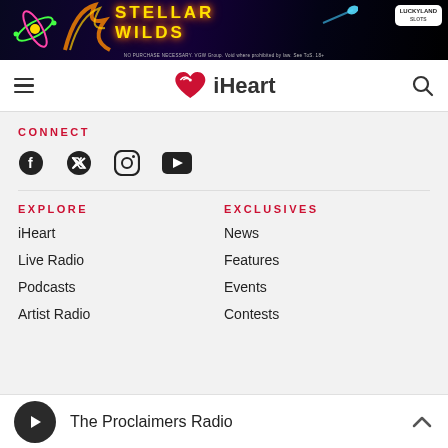[Figure (screenshot): Stellar Wilds advertisement banner for LuckyLand Slots with dark space background, yellow text, and disclaimer text]
iHeart navigation bar with hamburger menu, iHeart logo, and search icon
CONNECT
[Figure (infographic): Social media icons: Facebook, Twitter, Instagram, YouTube]
EXPLORE
iHeart
Live Radio
Podcasts
Artist Radio
EXCLUSIVES
News
Features
Events
Contests
The Proclaimers Radio